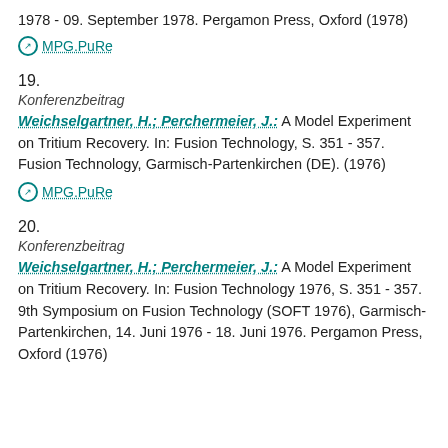1978 - 09. September 1978. Pergamon Press, Oxford (1978)
⊙ MPG.PuRe
19.
Konferenzbeitrag
Weichselgartner, H.; Perchermeier, J.: A Model Experiment on Tritium Recovery. In: Fusion Technology, S. 351 - 357. Fusion Technology, Garmisch-Partenkirchen (DE). (1976)
⊙ MPG.PuRe
20.
Konferenzbeitrag
Weichselgartner, H.; Perchermeier, J.: A Model Experiment on Tritium Recovery. In: Fusion Technology 1976, S. 351 - 357. 9th Symposium on Fusion Technology (SOFT 1976), Garmisch-Partenkirchen, 14. Juni 1976 - 18. Juni 1976. Pergamon Press, Oxford (1976)